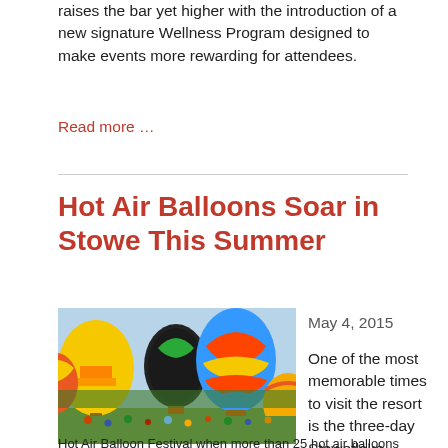raises the bar yet higher with the introduction of a new signature Wellness Program designed to make events more rewarding for attendees.
Read more …
Hot Air Balloons Soar in Stowe This Summer
[Figure (photo): Hot air balloons in various colors (yellow, red, orange, black, blue-orange-red striped, and others) on a green field with crowds of people and trees in the background.]
May 4, 2015
One of the most memorable times to visit the resort is the three-day Stoweflake
Hot Air Balloon Festival when more than 25 hot air balloons